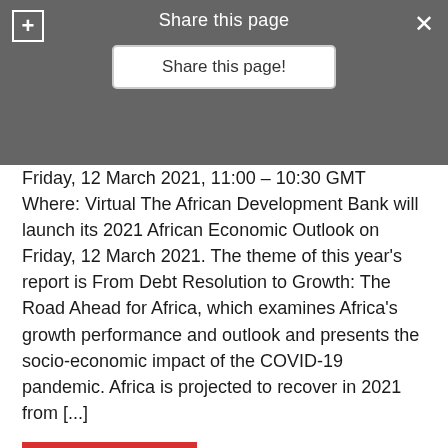Share this page
Share this page!
Friday, 12 March 2021, 11:00 – 10:30 GMT Where: Virtual The African Development Bank will launch its 2021 African Economic Outlook on Friday, 12 March 2021. The theme of this year's report is From Debt Resolution to Growth: The Road Ahead for Africa, which examines Africa's growth performance and outlook and presents the socio-economic impact of the COVID-19 pandemic. Africa is projected to recover in 2021 from [...]
READ MORE
African Development Bank  Featured  finance  Uncategorized